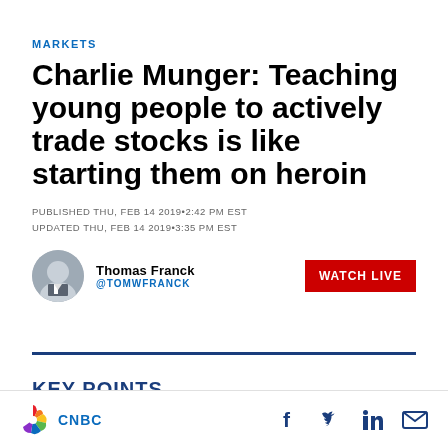MARKETS
Charlie Munger: Teaching young people to actively trade stocks is like starting them on heroin
PUBLISHED THU, FEB 14 2019•2:42 PM EST
UPDATED THU, FEB 14 2019•3:35 PM EST
Thomas Franck
@TOMWFRANCK
[Figure (other): WATCH LIVE red button]
KEY POINTS
[Figure (logo): CNBC logo with peacock icon at bottom of page]
[Figure (other): Social media icons: Facebook, Twitter, LinkedIn, Email]